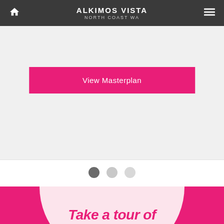ALKIMOS VISTA
NORTH COAST WA
[Figure (screenshot): Pink 'View Masterplan' button on light grey background, part of a web page slider]
[Figure (infographic): Three carousel navigation dots: first dark grey (active), second and third light grey]
[Figure (illustration): Bottom section with hot pink background, a large light pink circle/oval shape, and partial bold italic text reading 'Take a tour of']